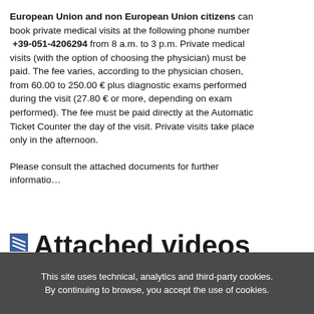European Union and non European Union citizens can book private medical visits at the following phone number +39-051-4206294 from 8 a.m. to 3 p.m. Private medical visits (with the option of choosing the physician) must be paid. The fee varies, according to the physician chosen, from 60.00 to 250.00 € plus diagnostic exams performed during the visit (27.80 € or more, depending on exam performed). The fee must be paid directly at the Automatic Ticket Counter the day of the visit. Private visits take place only in the afternoon.
Please consult the attached documents for further information.
Attached videos and documents
This site uses technical, analytics and third-party cookies. By continuing to browse, you accept the use of cookies.